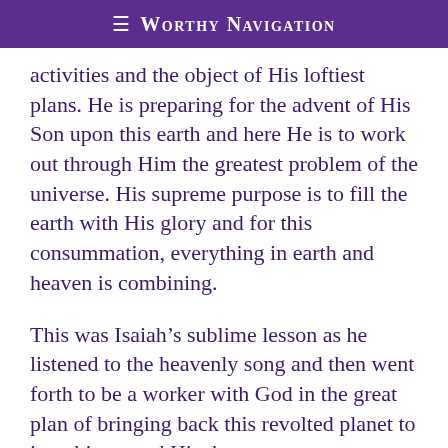≡ Worthy Navigation
activities and the object of His loftiest plans. He is preparing for the advent of His Son upon this earth and here He is to work out through Him the greatest problem of the universe. His supreme purpose is to fill the earth with His glory and for this consummation, everything in earth and heaven is combining.
This was Isaiah's sublime lesson as he listened to the heavenly song and then went forth to be a worker with God in the great plan of bringing back this revolted planet to its orbit around His throne.
Such a vision must come to us before we are truly prepared for the work of God. Then we too will spring to our places in this mighty plan